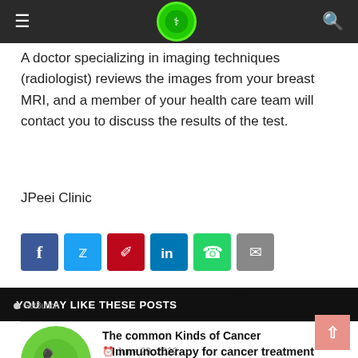JPeei Clinic header with logo, menu, and search
A doctor specializing in imaging techniques (radiologist) reviews the images from your breast MRI, and a member of your health care team will contact you to discuss the results of the test.
JPeei Clinic
[Figure (infographic): Social sharing buttons row: Facebook, Twitter, Pinterest, LinkedIn, WhatsApp, Email]
YOU MAY LIKE THESE POSTS
[Figure (photo): Thumbnail with WhatsApp-style phone icon in green circle]
The common Kinds of Cancer
June 29, 2022
Immunotherapy for cancer treatment